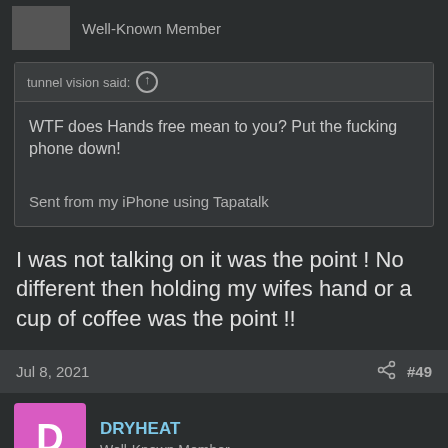Well-Known Member
tunnel vision said: ↑

WTF does Hands free mean to you? Put the fucking phone down!

Sent from my iPhone using Tapatalk
I was not talking on it was the point ! No different then holding my wifes hand or a cup of coffee was the point !!
Jul 8, 2021   #49
DRYHEAT
Well-Known Member